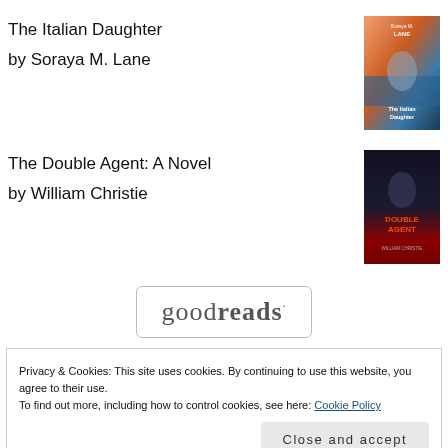The Italian Daughter
by Soraya M. Lane
[Figure (illustration): Book cover of The Italian Daughter by Soraya M. Lane showing a mountain landscape with warm sunset colors]
The Double Agent: A Novel
by William Christie
[Figure (illustration): Book cover of The Double Agent: A Novel by William Christie showing a dark thriller cover with red text]
[Figure (logo): Goodreads logo in a rounded rectangle border]
Privacy & Cookies: This site uses cookies. By continuing to use this website, you agree to their use.
To find out more, including how to control cookies, see here: Cookie Policy
Close and accept
reviews, spotlights, and blitzes and participate with